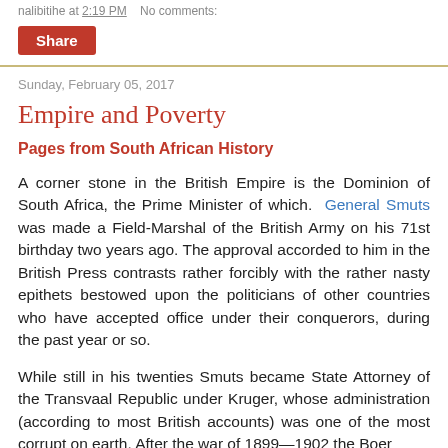nalibitihe at 2:19 PM   No comments:
Share
Sunday, February 05, 2017
Empire and Poverty
Pages from South African History
A corner stone in the British Empire is the Dominion of South Africa, the Prime Minister of which. General Smuts was made a Field-Marshal of the British Army on his 71st birthday two years ago. The approval accorded to him in the British Press contrasts rather forcibly with the rather nasty epithets bestowed upon the politicians of other countries who have accepted office under their conquerors, during the past year or so.
While still in his twenties Smuts became State Attorney of the Transvaal Republic under Kruger, whose administration (according to most British accounts) was one of the most corrupt on earth. After the war of 1899—1902 the Boer